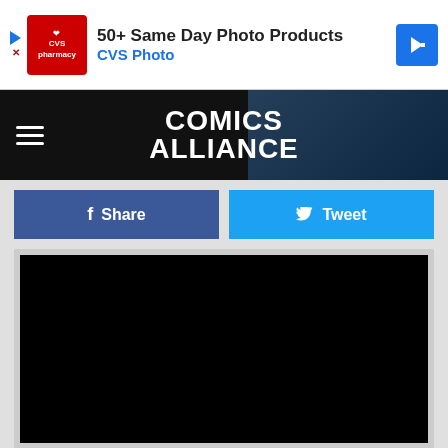[Figure (screenshot): CVS Pharmacy advertisement banner: '50+ Same Day Photo Products' and 'CVS Photo' with CVS logo and navigation arrow]
[Figure (screenshot): Comics Alliance website navigation bar with hamburger menu icon and Comics Alliance logo on dark background]
[Figure (screenshot): Facebook Share button (dark blue) and Twitter Tweet button (light blue) social sharing buttons]
[Figure (screenshot): Embedded video player showing a black/blank video frame]
Coinci...ital Audio, ...hing's
[Figure (screenshot): Mattress Firm advertisement overlay at bottom of page with logo and navigation arrow]